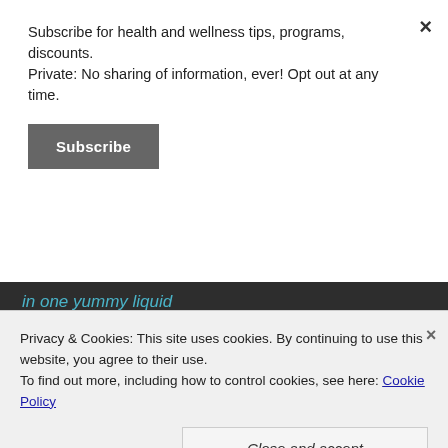Subscribe for health and wellness tips, programs, discounts. Private: No sharing of information, ever! Opt out at any time.
Subscribe
in one yummy liquid
PLANNING to SUCCEED
Basic KETO starter info
Physician-grade Products
Privacy & Cookies: This site uses cookies. By continuing to use this website, you agree to their use. To find out more, including how to control cookies, see here: Cookie Policy
Close and accept